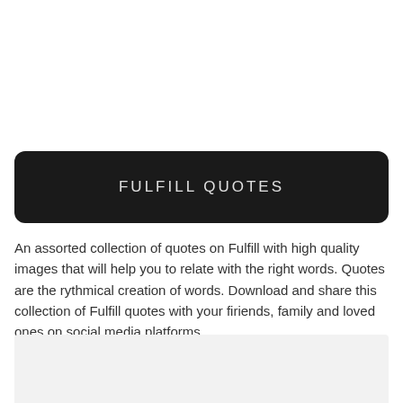FULFILL QUOTES
An assorted collection of quotes on Fulfill with high quality images that will help you to relate with the right words. Quotes are the rythmical creation of words. Download and share this collection of Fulfill quotes with your firiends, family and loved ones on social media platforms.
[Figure (photo): Light gray/beige rectangular image area at the bottom of the page]